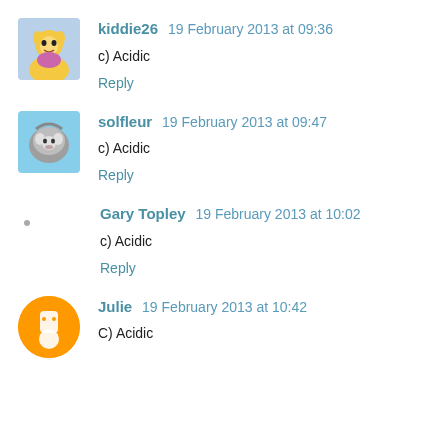kiddie26  19 February 2013 at 09:36
c) Acidic
Reply
solfleur  19 February 2013 at 09:47
c) Acidic
Reply
Gary Topley  19 February 2013 at 10:02
c) Acidic
Reply
Julie  19 February 2013 at 10:42
C) Acidic